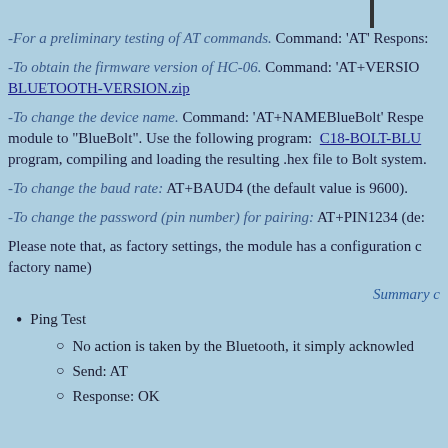-For a preliminary testing of AT commands. Command: 'AT' Response:
-To obtain the firmware version of HC-06. Command: 'AT+VERSION' BLUETOOTH-VERSION.zip
-To change the device name. Command: 'AT+NAMEBlueBolt' Response: sets module to "BlueBolt". Use the following program: C18-BOLT-BLU program, compiling and loading the resulting .hex file to Bolt system.
-To change the baud rate: AT+BAUD4 (the default value is 9600).
-To change the password (pin number) for pairing: AT+PIN1234 (de:
Please note that, as factory settings, the module has a configuration of factory name)
Summary c
Ping Test
No action is taken by the Bluetooth, it simply acknowled
Send: AT
Response: OK